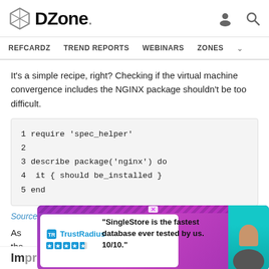DZone
REFCARDZ  TREND REPORTS  WEBINARS  ZONES
It's a simple recipe, right? Checking if the virtual machine convergence includes the NGINX package shouldn't be too difficult.
[Figure (screenshot): Code block showing Ruby Serverspec test:
1 require 'spec_helper'
2
3 describe package('nginx') do
4  it { should be_installed }
5 end]
Source.
As...
[Figure (infographic): TrustRadius advertisement: 'SingleStore is the fastest database ever tested by us. 10/10.']
Improving Serverspec Test Coverage